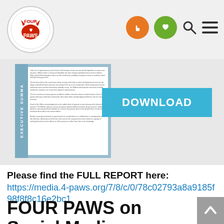[Figure (logo): Four Paws logo - circular with red cat/paw graphic and text FOUR PAWS]
[Figure (screenshot): Navigation bar with orange hand icon, green heart icon, search icon, and hamburger menu icon]
[Figure (screenshot): Document preview showing Executive Summary page with Download button]
Please find the FULL REPORT here:
https://media.4-paws.org/7/8/c/0/78c02793a8a9185f98f8f8c16e2bc1
FOUR PAWS on Social Media
Stay up to date on this topic and on all FOUR PAWS